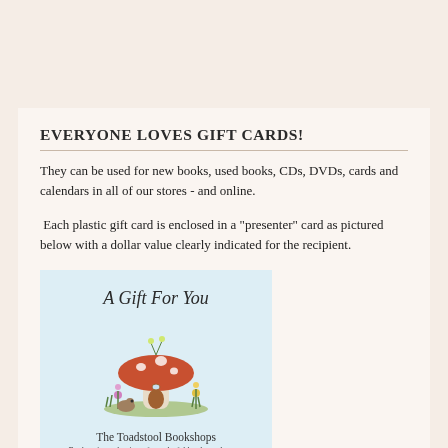EVERYONE LOVES GIFT CARDS!
They can be used for new books, used books, CDs, DVDs, cards and calendars in all of our stores - and online.
Each plastic gift card is enclosed in a "presenter" card as pictured below with a dollar value clearly indicated for the recipient.
[Figure (illustration): A gift card presenter from The Toadstool Bookshops showing 'A Gift For You' text, an illustration of a toadstool/mushroom house scene with animals, the bookshop name and tagline 'Enchanting selection of wonderful books and more: Keene, Milford, Peterborough']